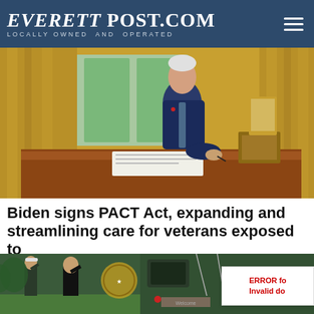EverettPost.com — Locally Owned and Operated
[Figure (photo): President Biden signing a document at his desk in the Oval Office, wearing a dark blue suit and blue tie, with golden curtains in the background]
Biden signs PACT Act, expanding and streamlining care for veterans exposed to
[Figure (photo): President Biden saluting a Marine guard near Marine One helicopter on the South Lawn, with an error overlay reading 'ERROR fo... Invalid do...']